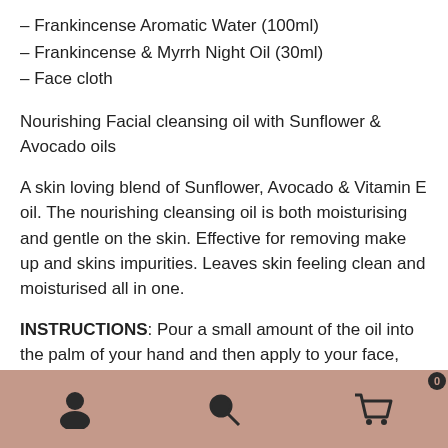– Frankincense Aromatic Water (100ml)
– Frankincense & Myrrh Night Oil (30ml)
– Face cloth
Nourishing Facial cleansing oil with Sunflower & Avocado oils
A skin loving blend of Sunflower, Avocado & Vitamin E oil. The nourishing cleansing oil is both moisturising and gentle on the skin. Effective for removing make up and skins impurities. Leaves skin feeling clean and moisturised all in one.
INSTRUCTIONS: Pour a small amount of the oil into the palm of your hand and then apply to your face, gently
[Figure (infographic): Bottom navigation bar with user profile icon, search icon, and shopping cart icon with badge showing 0, on a muted rose/brown background.]